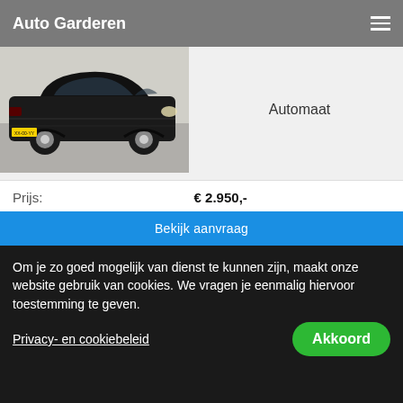Auto Garderen
Automaat
[Figure (photo): Black Audi station wagon / estate car photographed in a parking lot, side-front view]
| Prijs: | € 2.950,- |
| Bouwjaar: | 2002 |
| Carrosserie: | Stationwagen |
| Km. stand: | 330.434 km |
| Financial lease: | v.a. € 43,00 p/m |
Bekijk aanvraag
Om je zo goed mogelijk van dienst te kunnen zijn, maakt onze website gebruik van cookies. We vragen je eenmalig hiervoor toestemming te geven.
Privacy- en cookiebeleid
Akkoord